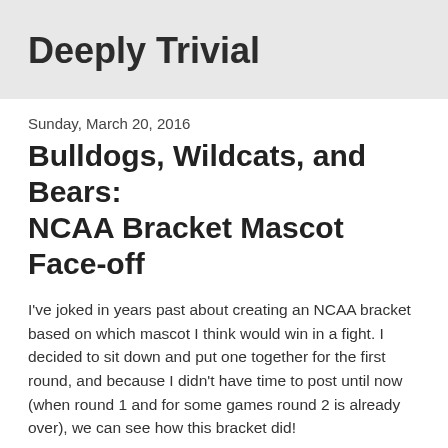Deeply Trivial
Sunday, March 20, 2016
Bulldogs, Wildcats, and Bears: NCAA Bracket Mascot Face-off
I've joked in years past about creating an NCAA bracket based on which mascot I think would win in a fight. I decided to sit down and put one together for the first round, and because I didn't have time to post until now (when round 1 and for some games round 2 is already over), we can see how this bracket did!
South Region
Jayhawks (1) v. Governors (16) - The first matchup is a mythical bird against a politician. In cases where the mascot is made up, I based my assessment of that mascot's abilities